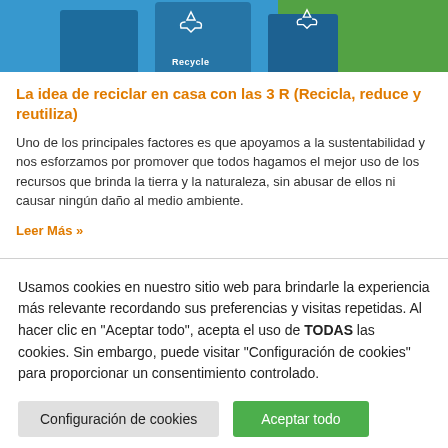[Figure (photo): Photo of blue recycling bins outdoors, partially cropped at top. One bin has recycle symbol and text 'Recycle'. Green grass visible in background.]
La idea de reciclar en casa con las 3 R (Recicla, reduce y reutiliza)
Uno de los principales factores es que apoyamos a la sustentabilidad y nos esforzamos por promover que todos hagamos el mejor uso de los recursos que brinda la tierra y la naturaleza, sin abusar de ellos ni causar ningún daño al medio ambiente.
Leer Más »
Usamos cookies en nuestro sitio web para brindarle la experiencia más relevante recordando sus preferencias y visitas repetidas. Al hacer clic en "Aceptar todo", acepta el uso de TODAS las cookies. Sin embargo, puede visitar "Configuración de cookies" para proporcionar un consentimiento controlado.